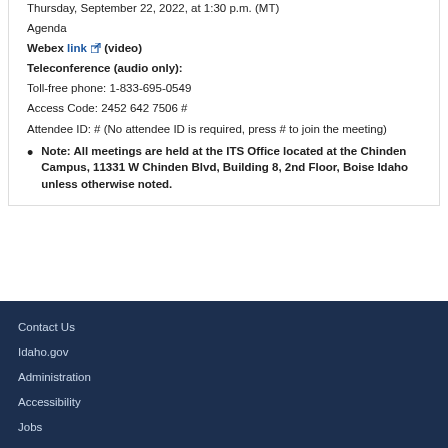Thursday, September 22, 2022, at 1:30 p.m. (MT)
Agenda
Webex link (video)
Teleconference (audio only):
Toll-free phone: 1-833-695-0549
Access Code: 2452 642 7506 #
Attendee ID: # (No attendee ID is required, press # to join the meeting)
Note: All meetings are held at the ITS Office located at the Chinden Campus, 11331 W Chinden Blvd, Building 8, 2nd Floor, Boise Idaho unless otherwise noted.
Contact Us
Idaho.gov
Administration
Accessibility
Jobs